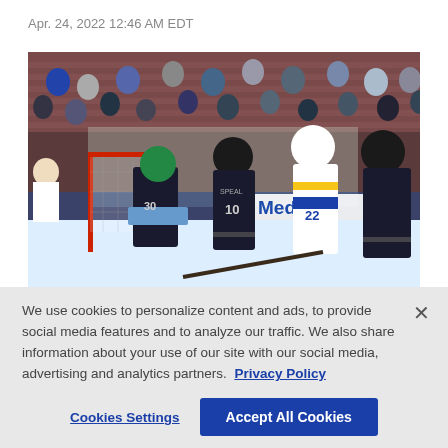Apr. 24, 2022 12:46 AM EDT
[Figure (photo): Hockey game photo showing players near the goal. A St. Louis Blues player in white jersey attempts a shot while Arizona Coyotes players in dark jerseys and a goalie defend the net. Arena crowd visible in background. MedSun advertising board visible.]
We use cookies to personalize content and ads, to provide social media features and to analyze our traffic. We also share information about your use of our site with our social media, advertising and analytics partners. Privacy Policy
Cookies Settings
Accept All Cookies